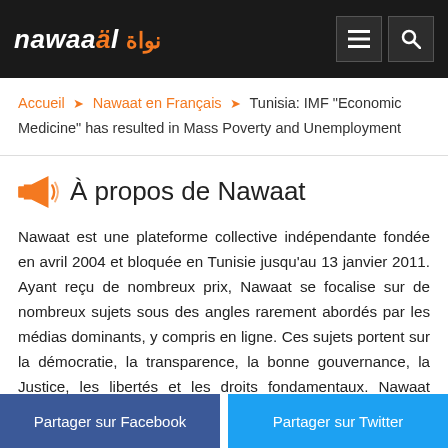nawaäl نواة
Accueil > Nawaat en Français > Tunisia: IMF "Economic Medicine" has resulted in Mass Poverty and Unemployment
À propos de Nawaat
Nawaat est une plateforme collective indépendante fondée en avril 2004 et bloquée en Tunisie jusqu'au 13 janvier 2011. Ayant reçu de nombreux prix, Nawaat se focalise sur de nombreux sujets sous des angles rarement abordés par les médias dominants, y compris en ligne. Ces sujets portent sur la démocratie, la transparence, la bonne gouvernance, la Justice, les libertés et les droits fondamentaux. Nawaat produit
Partager sur Facebook | Partager sur Twitter